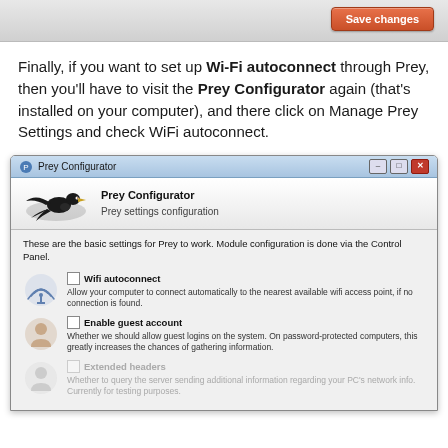[Figure (screenshot): Top bar of a web interface with a 'Save changes' orange button on the right]
Finally, if you want to set up Wi-Fi autoconnect through Prey, then you'll have to visit the Prey Configurator again (that's installed on your computer), and there click on Manage Prey Settings and check WiFi autoconnect.
[Figure (screenshot): Prey Configurator Windows application dialog showing Wifi autoconnect and Enable guest account settings]